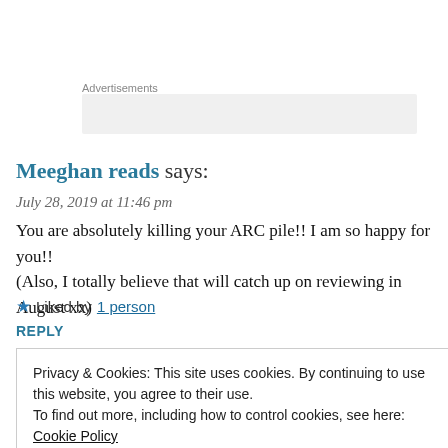Advertisements
Meeghan reads says:
July 28, 2019 at 11:46 pm
You are absolutely killing your ARC pile!! I am so happy for you!! (Also, I totally believe that will catch up on reviewing in August xx)
Liked by 1 person
REPLY
Privacy & Cookies: This site uses cookies. By continuing to use this website, you agree to their use.
To find out more, including how to control cookies, see here: Cookie Policy
Close and accept